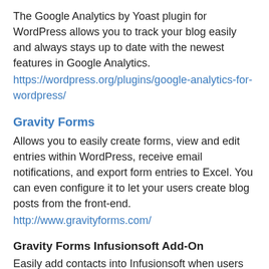The Google Analytics by Yoast plugin for WordPress allows you to track your blog easily and always stays up to date with the newest features in Google Analytics.
https://wordpress.org/plugins/google-analytics-for-wordpress/
Gravity Forms
Allows you to easily create forms, view and edit entries within WordPress, receive email notifications, and export form entries to Excel. You can even configure it to let your users create blog posts from the front-end.
http://www.gravityforms.com/
Gravity Forms Infusionsoft Add-On
Easily add contacts into Infusionsoft when users submit a Gravity Forms form. Map your Gravity